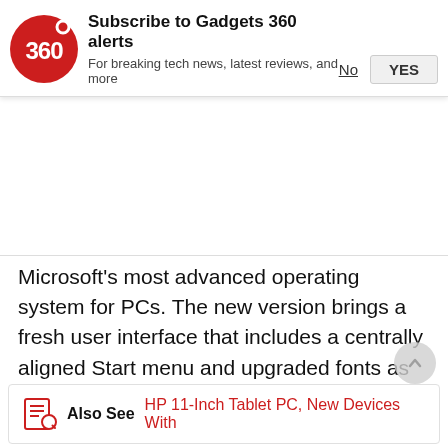[Figure (logo): Gadgets 360 red circular logo with '360' text]
Subscribe to Gadgets 360 alerts
For breaking tech news, latest reviews, and more
No
YES
Microsoft's most advanced operating system for PCs. The new version brings a fresh user interface that includes a centrally aligned Start menu and upgraded fonts as well as notification sounds. It also integrates Microsoft Teams to let users connect with others over chat, voice, or video calls. Windows 11 also improves multitasking with Snap Layouts and Groups. It also supports multiple desktops and carries a range of accessibility features such as Narrator, Magnifier, Closed Captions, and Windows Speech Recognition.
Also See  HP 11-Inch Tablet PC, New Devices With